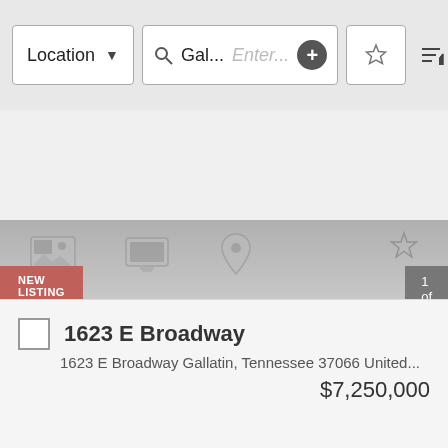[Figure (screenshot): Mobile real estate app search interface with Location dropdown, search bar showing 'Gal...', Enter placeholder, plus button, star button, and sort icon]
[Figure (screenshot): Image carousel area with gray gradient background showing property icons at top, left and right navigation arrows, and a loading spinner circle in center]
NEW LISTING
1 of 5
1623 E Broadway
1623 E Broadway Gallatin, Tennessee 37066 United...
$7,250,000